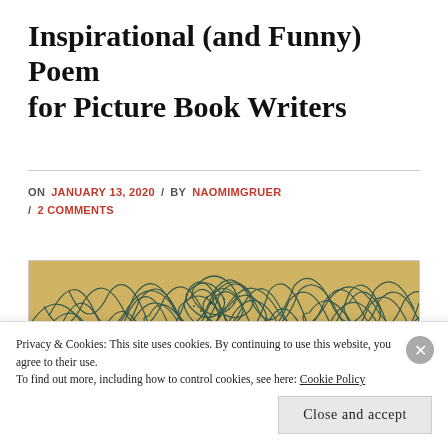Inspirational (and Funny) Poem for Picture Book Writers
ON JANUARY 13, 2020 / BY NAOMIMGRUER / 2 COMMENTS
[Figure (photo): Abstract scribble artwork with dark teal/black tangled lines on a beige/golden background]
Privacy & Cookies: This site uses cookies. By continuing to use this website, you agree to their use.
To find out more, including how to control cookies, see here: Cookie Policy
Close and accept